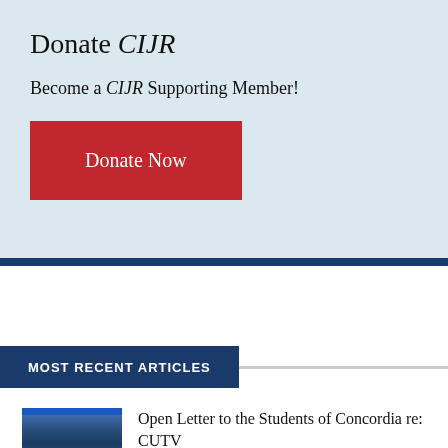Donate CIJR
Become a CIJR Supporting Member!
[Figure (other): Red 'Donate Now' button]
MOST RECENT ARTICLES
[Figure (photo): Thumbnail photo of a building]
Open Letter to the Students of Concordia re: CUTV